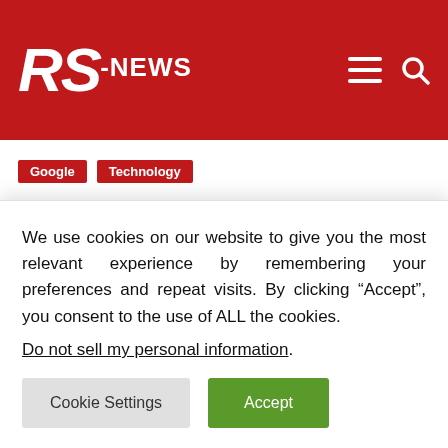RS-NEWS
Google
Technology
This new Google app lets you speak with your
We use cookies on our website to give you the most relevant experience by remembering your preferences and repeat visits. By clicking “Accept”, you consent to the use of ALL the cookies.
Do not sell my personal information.
Cookie Settings  Accept